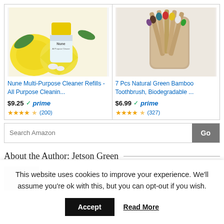[Figure (photo): Product image of Nune Multi-Purpose Cleaner Refills with lemons and mint leaves]
Nune Multi-Purpose Cleaner Refills - All Purpose Cleanin...
$9.25 ✓prime
★★★★☆ (200)
[Figure (photo): Product image of 7 Pcs Natural Green Bamboo Toothbrushes in a holder]
7 Pcs Natural Green Bamboo Toothbrush, Biodegradable ...
$6.99 ✓prime
★★★★☆ (327)
Search Amazon
About the Author: Jetson Green
This website uses cookies to improve your experience. We'll assume you're ok with this, but you can opt-out if you wish.
Accept  Read More